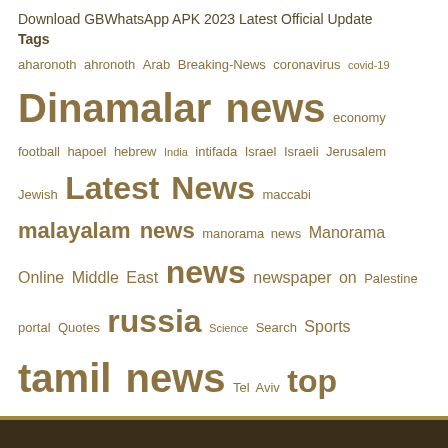Download GBWhatsApp APK 2023 Latest Official Update
Tags
aharonoth ahronoth Arab Breaking-News coronavirus covid-19 Dinamalar news economy football hapoel hebrew India intifada Israel Israeli Jerusalem Jewish Latest News maccabi malayalam news manorama news Manorama Online Middle East news newspaper on Palestine portal Quotes russia Science Search Sports tamil news Tel Aviv top online news Ukraine update updated top business news usa west bank world top news www.ynet.co.il yediot yedioth